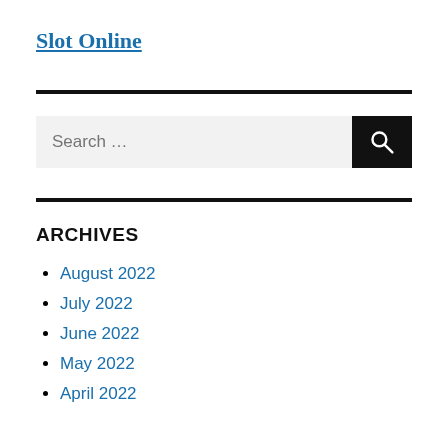Slot Online
ARCHIVES
August 2022
July 2022
June 2022
May 2022
April 2022